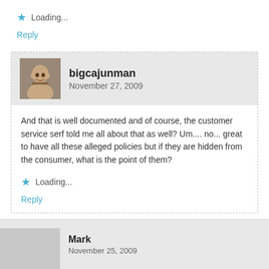Loading...
Reply
bigcajunman
November 27, 2009
And that is well documented and of course, the customer service serf told me all about that as well? Um.... no... great to have all these alleged policies but if they are hidden from the consumer, what is the point of them?
Loading...
Reply
Mark
November 25, 2009